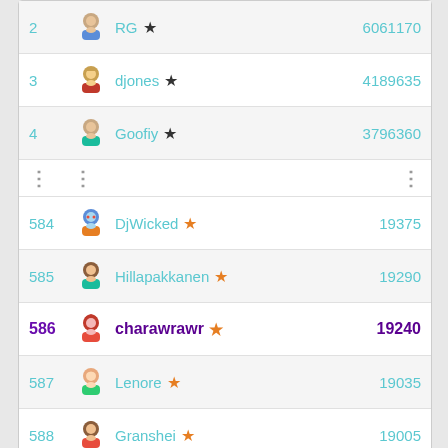| Rank | Avatar | Username | Score |
| --- | --- | --- | --- |
| 2 |  | RG ★ | 6061170 |
| 3 |  | djones ★ | 4189635 |
| 4 |  | Goofiy ★ | 3796360 |
| ... |  | ... | ... |
| 584 |  | DjWicked ★ | 19375 |
| 585 |  | Hillapakkanen ★ | 19290 |
| 586 |  | charawrawr ★ | 19240 |
| 587 |  | Lenore ★ | 19035 |
| 588 |  | Granshei ★ | 19005 |
View full table